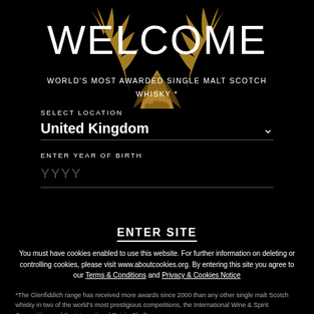[Figure (illustration): Golden stag/deer antlers and decorative plant/leaf motif illustration on black background]
WELCOME
WORLD'S MOST AWARDED SINGLE MALT SCOTCH WHISKY *
SELECT LOCATION
United Kingdom
ENTER YEAR OF BIRTH
YYYY
ENTER SITE
You must have cookies enabled to use this website. For further information on deleting or controlling cookies, please visit www.aboutcookies.org. By entering this site you agree to our Terms & Conditions and Privacy & Cookies Notice
*The Glenfiddich range has received more awards since 2000 than any other single malt Scotch whisky in two of the world's most prestigious competitions, the International Wine & Spirit Competition and the International Spirits Challenge